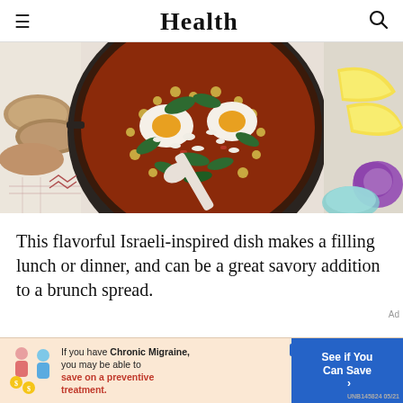Health
[Figure (photo): Overhead view of a shakshuka dish in a dark pan with eggs, chickpeas, tomatoes, spinach, and feta cheese, served with bread slices and lemon wedges on a white surface]
This flavorful Israeli-inspired dish makes a filling lunch or dinner, and can be a great savory addition to a brunch spread.
[Figure (infographic): Advertisement banner: 'If you have Chronic Migraine, you may be able to save on a preventive treatment.' with a blue 'See if You Can Save' button and UNB145824 05/21 identifier]